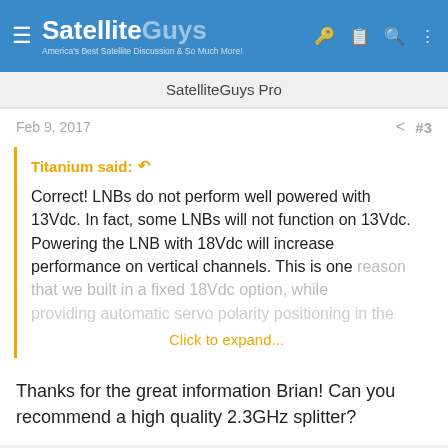SatelliteGuys — America's Best Satellite Discussion & So Much More!
SatelliteGuys Pro
Feb 9, 2017  #3
Titanium said: ↩

Correct! LNBs do not perform well powered with 13Vdc. In fact, some LNBs will not function on 13Vdc. Powering the LNB with 18Vdc will increase performance on vertical channels. This is one reason that we built in a fixed 18Vdc option, while providing automatic servo polarity positioning in the
Click to expand...
Thanks for the great information Brian! Can you recommend a high quality 2.3GHz splitter?